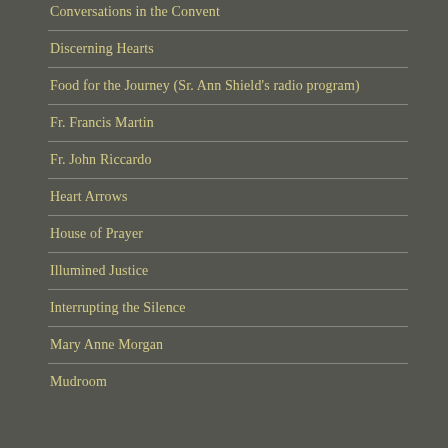Conversations in the Convent
Discerning Hearts
Food for the Journey (Sr. Ann Shield's radio program)
Fr. Francis Martin
Fr. John Riccardo
Heart Arrows
House of Prayer
Illumined Justice
Interrupting the Silence
Mary Anne Morgan
Mudroom